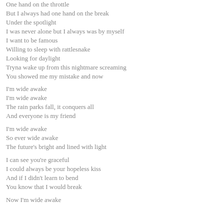One hand on the throttle
But I always had one hand on the break
Under the spotlight
I was never alone but I always was by myself
I want to be famous
Willing to sleep with rattlesnake
Looking for daylight
Tryna wake up from this nightmare screaming
You showed me my mistake and now
I'm wide awake
I'm wide awake
The rain parks fall, it conquers all
And everyone is my friend
I'm wide awake
So ever wide awake
The future's bright and lined with light
I can see you're graceful
I could always be your hopeless kiss
And if I didn't learn to bend
You know that I would break
Now I'm wide awake